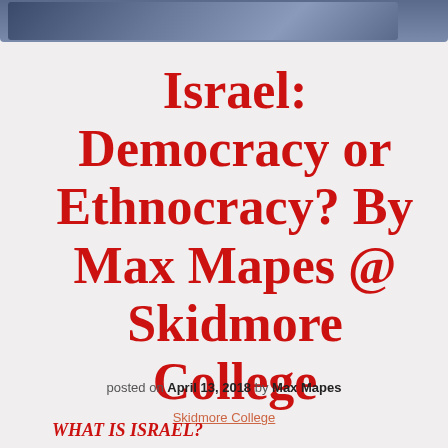[Figure (photo): Partial image strip at top of page showing a dark blue/purple scene, cropped]
Israel: Democracy or Ethnocracy? By Max Mapes @ Skidmore College
posted on April 13, 2018 by Max Mapes
Skidmore College
WHAT IS ISRAEL?